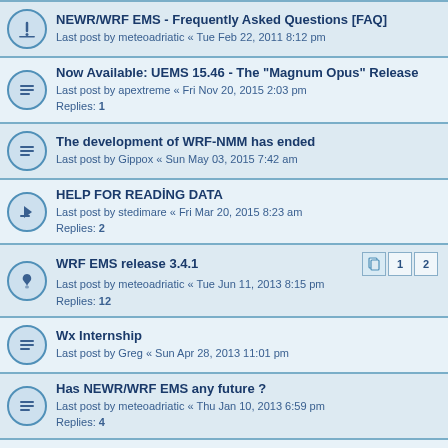NEWR/WRF EMS - Frequently Asked Questions [FAQ] — Last post by meteoadriatic « Tue Feb 22, 2011 8:12 pm
Now Available: UEMS 15.46 - The "Magnum Opus" Release — Last post by apextreme « Fri Nov 20, 2015 2:03 pm — Replies: 1
The development of WRF-NMM has ended — Last post by Gippox « Sun May 03, 2015 7:42 am
HELP FOR READİNG DATA — Last post by stedimare « Fri Mar 20, 2015 8:23 am — Replies: 2
WRF EMS release 3.4.1 — Last post by meteoadriatic « Tue Jun 11, 2013 8:15 pm — Replies: 12
Wx Internship — Last post by Greg « Sun Apr 28, 2013 11:01 pm
Has NEWR/WRF EMS any future ? — Last post by meteoadriatic « Thu Jan 10, 2013 6:59 pm — Replies: 4
Important fix for GFS init/bound conditions users! — Last post by vongrads « Tue Sep 04, 2012 2:53 am — Replies: 4
Facebook? — Last post by pattim « Wed Jul 04, 2012 7:37 pm — Replies: 2
difference between 3.2.1.5.34 beta and 3.2.1.5.44 beta